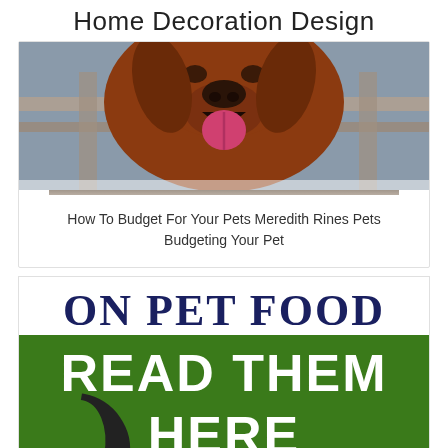Home Decoration Design
[Figure (photo): Photo of a brown/reddish hound dog leaning over a wooden fence railing, mouth open and tongue out, looking down at the camera.]
How To Budget For Your Pets Meredith Rines Pets Budgeting Your Pet
[Figure (infographic): Promotional banner with dark navy text 'ON PET FOOD' on white background above a green rectangle with bold white text 'READ THEM HERE' and a black cat silhouette/paw in the lower left corner.]